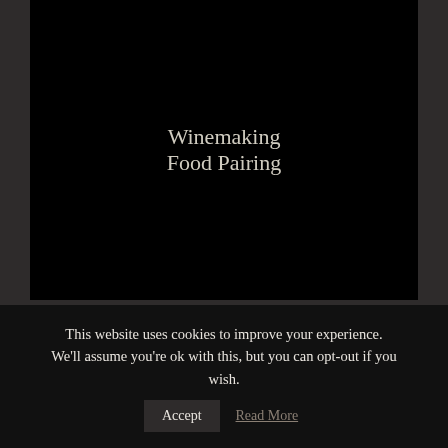Winemaking
Food Pairing
RELATED PRODUCTS
This website uses cookies to improve your experience. We'll assume you're ok with this, but you can opt-out if you wish.
Accept
Read More